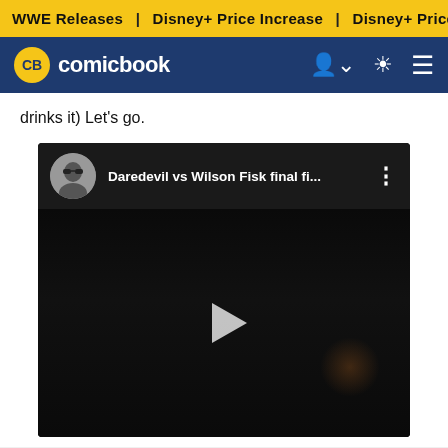WWE Releases | Disney+ Price Increase | Disney+ Price Increase
CB comicbook
drinks it) Let's go.
[Figure (screenshot): Embedded YouTube video player showing 'Daredevil vs Wilson Fisk final fi...' with a dark video thumbnail and play button. A circular avatar of a person with sunglasses is shown in the video header.]